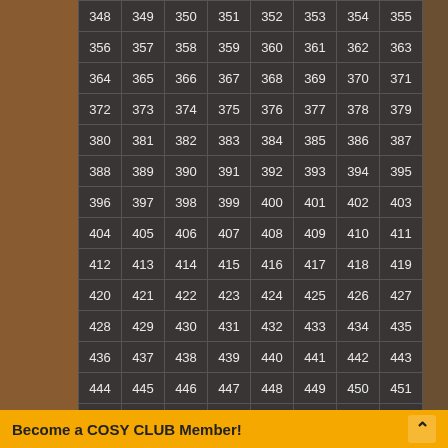| 348 | 349 | 350 | 351 | 352 | 353 | 354 | 355 |
| 356 | 357 | 358 | 359 | 360 | 361 | 362 | 363 |
| 364 | 365 | 366 | 367 | 368 | 369 | 370 | 371 |
| 372 | 373 | 374 | 375 | 376 | 377 | 378 | 379 |
| 380 | 381 | 382 | 383 | 384 | 385 | 386 | 387 |
| 388 | 389 | 390 | 391 | 392 | 393 | 394 | 395 |
| 396 | 397 | 398 | 399 | 400 | 401 | 402 | 403 |
| 404 | 405 | 406 | 407 | 408 | 409 | 410 | 411 |
| 412 | 413 | 414 | 415 | 416 | 417 | 418 | 419 |
| 420 | 421 | 422 | 423 | 424 | 425 | 426 | 427 |
| 428 | 429 | 430 | 431 | 432 | 433 | 434 | 435 |
| 436 | 437 | 438 | 439 | 440 | 441 | 442 | 443 |
| 444 | 445 | 446 | 447 | 448 | 449 | 450 | 451 |
| 452 | 453 | 454 | 455 | 456 | 457 | 458 | 459 |
Become a COSY CLUB Member!